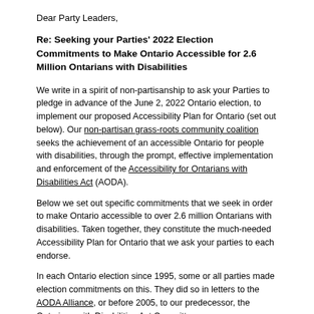Dear Party Leaders,
Re: Seeking your Parties' 2022 Election Commitments to Make Ontario Accessible for 2.6 Million Ontarians with Disabilities
We write in a spirit of non-partisanship to ask your Parties to pledge in advance of the June 2, 2022 Ontario election, to implement our proposed Accessibility Plan for Ontario (set out below). Our non-partisan grass-roots community coalition seeks the achievement of an accessible Ontario for people with disabilities, through the prompt, effective implementation and enforcement of the Accessibility for Ontarians with Disabilities Act (AODA).
Below we set out specific commitments that we seek in order to make Ontario accessible to over 2.6 million Ontarians with disabilities. Taken together, they constitute the much-needed Accessibility Plan for Ontario that we ask your parties to each endorse.
In each Ontario election since 1995, some or all parties made election commitments on this. They did so in letters to the AODA Alliance, or before 2005, to our predecessor, the Ontarians with Disabilities Act Committee.
We write over six months before the election, because these are big, important issues. We will make public responses we receive.
These Commitments are Vital